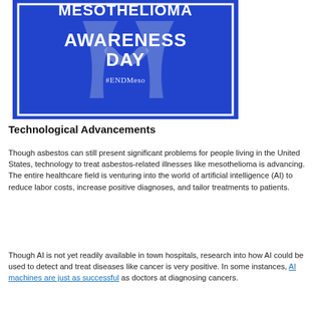[Figure (illustration): Blue square banner for Mesothelioma Awareness Day with white bold text reading 'MESOTHELIOMA AWARENESS DAY', a light blue awareness ribbon watermark, and small white text '#ENDMeso'. The banner has a white border frame inside a blue background.]
Technological Advancements
Though asbestos can still present significant problems for people living in the United States, technology to treat asbestos-related illnesses like mesothelioma is advancing. The entire healthcare field is venturing into the world of artificial intelligence (AI) to reduce labor costs, increase positive diagnoses, and tailor treatments to patients.
Though AI is not yet readily available in town hospitals, research into how AI could be used to detect and treat diseases like cancer is very positive. In some instances, AI machines are just as successful as doctors at diagnosing cancers.